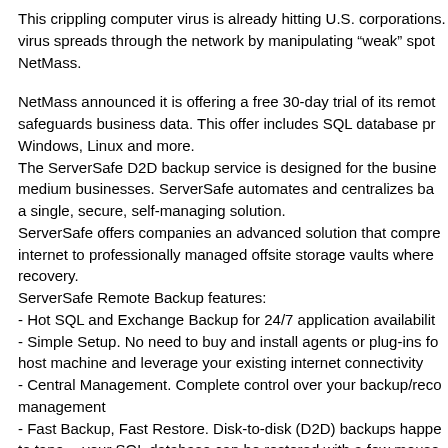This crippling computer virus is already hitting U.S. corporations. The virus spreads through the network by manipulating "weak" spots. NetMass.
NetMass announced it is offering a free 30-day trial of its remote safeguards business data. This offer includes SQL database pr... Windows, Linux and more. The ServerSafe D2D backup service is designed for the busi... medium businesses. ServerSafe automates and centralizes ba... a single, secure, self-managing solution. ServerSafe offers companies an advanced solution that compre... internet to professionally managed offsite storage vaults where... recovery. ServerSafe Remote Backup features: - Hot SQL and Exchange Backup for 24/7 application availabilit... - Simple Setup. No need to buy and install agents or plug-ins fo... host machine and leverage your existing internet connectivity - Central Management. Complete control over your backup/reco... management - Fast Backup, Fast Restore. Disk-to-disk (D2D) backups happe... to tape -- your SQL database can be restored with a few mouse...